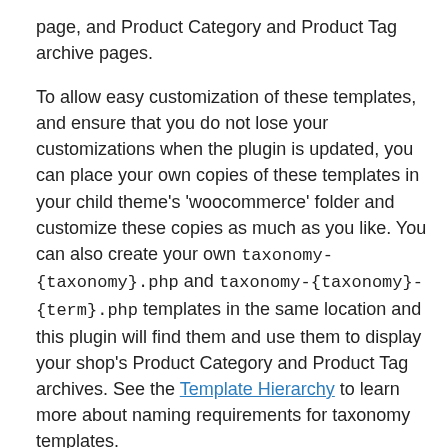page, and Product Category and Product Tag archive pages.
To allow easy customization of these templates, and ensure that you do not lose your customizations when the plugin is updated, you can place your own copies of these templates in your child theme's 'woocommerce' folder and customize these copies as much as you like. You can also create your own taxonomy-{taxonomy}.php and taxonomy-{taxonomy}-{term}.php templates in the same location and this plugin will find them and use them to display your shop's Product Category and Product Tag archives. See the Template Hierarchy to learn more about naming requirements for taxonomy templates.
Additionally, the plugin makes Genesis Simple Sidebars and Genesis Simple Menus compatible with WooCommerce.